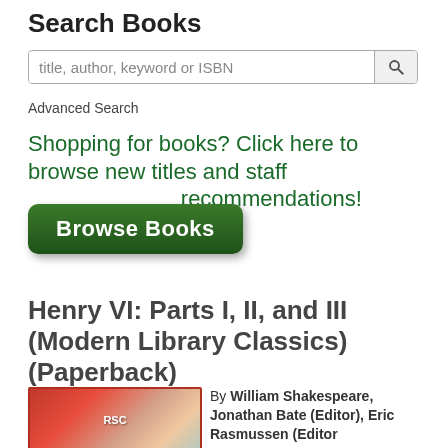Search Books
[Figure (screenshot): Search input box with placeholder 'title, author, keyword or ISBN' and a search button icon]
Advanced Search
Shopping for books? Click here to browse new titles and staff recommendations!
[Figure (other): Green 'Browse Books' button]
Henry VI: Parts I, II, and III (Modern Library Classics) (Paperback)
[Figure (photo): Book cover for Henry VI: Parts I, II, and III (Modern Library Classics) with red background and RSC logo]
By William Shakespeare, Jonathan Bate (Editor), Eric Rasmussen (Editor)